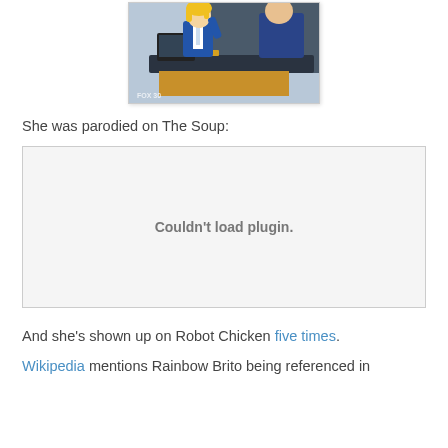[Figure (illustration): Animated cartoon image showing a blonde female character in a blue suit at a desk/podium, with another character visible, FOX 30 watermark visible in bottom left corner]
She was parodied on The Soup:
[Figure (other): Couldn't load plugin.]
And she's shown up on Robot Chicken five times.
Wikipedia mentions Rainbow Brite being referenced in